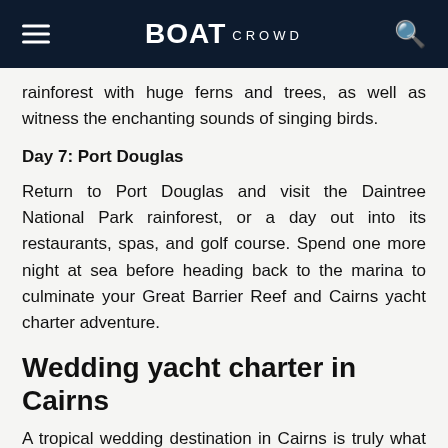BOAT CROWD
rainforest with huge ferns and trees, as well as witness the enchanting sounds of singing birds.
Day 7: Port Douglas
Return to Port Douglas and visit the Daintree National Park rainforest, or a day out into its restaurants, spas, and golf course. Spend one more night at sea before heading back to the marina to culminate your Great Barrier Reef and Cairns yacht charter adventure.
Wedding yacht charter in Cairns
A tropical wedding destination in Cairns is truly what dreams are made of. You and your guests can charter a yacht to whisk you away to a nearby island, where you can exchange vows on a secluded beach and enjoy a party on board. End your special day with champagne as you watch the sun setting on the horizon before making your way to the marina to end an unforgettable day filled with love and